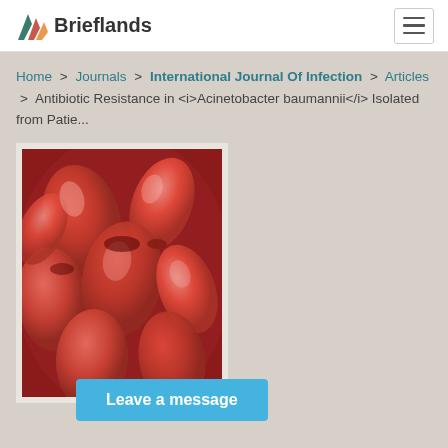Brieflands
Home > Journals > International Journal Of Infection > Articles > Antibiotic Resistance in <i>Acinetobacter baumannii</i> Isolated from Patie...
[Figure (photo): Electron microscope image of red-colored rod-shaped bacteria (Acinetobacter baumannii) clustered together]
Leave a message